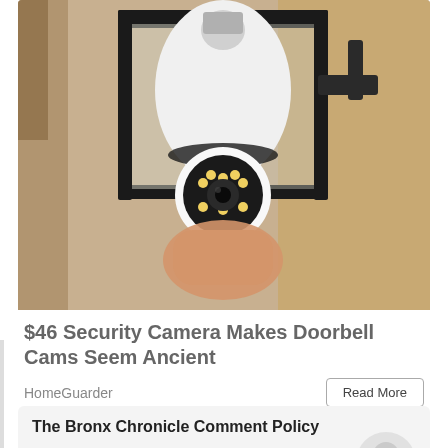[Figure (photo): A hand installing or screwing in a security camera that looks like a light bulb into an outdoor lantern-style lamp fixture mounted on a stucco wall.]
$46 Security Camera Makes Doorbell Cams Seem Ancient
HomeGuarder
Read More
The Bronx Chronicle Comment Policy
We welcome relevant and respectful comments. Off-topic, inflammatory and prejudicial commentary